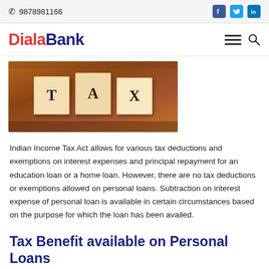📞 9878981166  [Facebook] [Twitter] [LinkedIn]
DialaBank [menu] [search]
[Figure (photo): Wooden blocks spelling TAX on a wooden surface background]
Indian Income Tax Act allows for various tax deductions and exemptions on interest expenses and principal repayment for an education loan or a home loan. However, there are no tax deductions or exemptions allowed on personal loans. Subtraction on interest expense of personal loan is available in certain circumstances based on the purpose for which the loan has been availed.
Tax Benefit available on Personal Loans